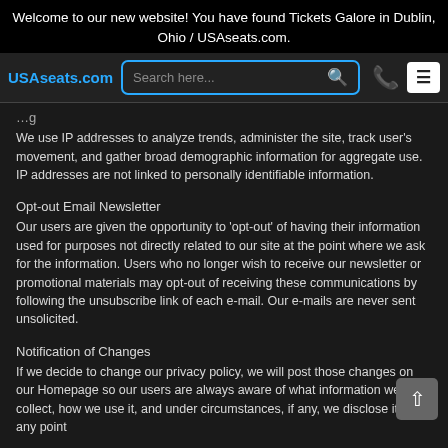Welcome to our new website! You have found Tickets Galore in Dublin, Ohio / USAseats.com.
[Figure (screenshot): Navigation bar with USAseats.com brand, search box, phone icon, and hamburger menu button]
We use IP addresses to analyze trends, administer the site, track user's movement, and gather broad demographic information for aggregate use. IP addresses are not linked to personally identifiable information.
Opt-out Email Newsletter
Our users are given the opportunity to 'opt-out' of having their information used for purposes not directly related to our site at the point where we ask for the information. Users who no longer wish to receive our newsletter or promotional materials may opt-out of receiving these communications by following the unsubscribe link of each e-mail. Our e-mails are never sent unsolicited.
Notification of Changes
If we decide to change our privacy policy, we will post those changes on our Homepage so our users are always aware of what information we collect, how we use it, and under circumstances, if any, we disclose it. If at any point